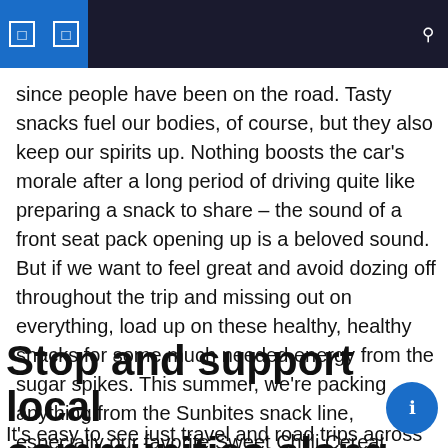since people have been on the road. Tasty snacks fuel our bodies, of course, but they also keep our spirits up. Nothing boosts the car's morale after a long period of driving quite like preparing a snack to share – the sound of a front seat pack opening up is a beloved sound. But if we want to feel great and avoid dozing off throughout the trip and missing out on everything, load up on these healthy, healthy snacks for some much needed energy from the sugar spikes. This summer, we're packing anything from the Sunbites snack line, especially our favorite Sweet Chilli Cereal Waves, to fuel us for the long haul ahead.
Stop and support local communities along the way
It's easy to see just travel and road trips across Australia as a